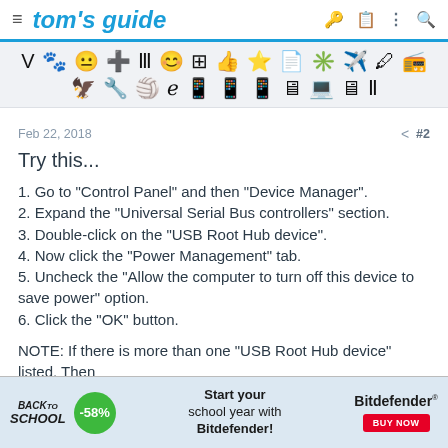tom's guide
[Figure (other): Icon/symbol toolbar with two rows of various category icons]
Feb 22, 2018    < #2
Try this...
1. Go to "Control Panel" and then "Device Manager".
2. Expand the "Universal Serial Bus controllers" section.
3. Double-click on the "USB Root Hub device".
4. Now click the "Power Management" tab.
5. Uncheck the "Allow the computer to turn off this device to save power" option.
6. Click the "OK" button.
NOTE: If there is more than one "USB Root Hub device" listed, Then
[Figure (other): Advertisement banner: Back to School -58% Bitdefender promotion]